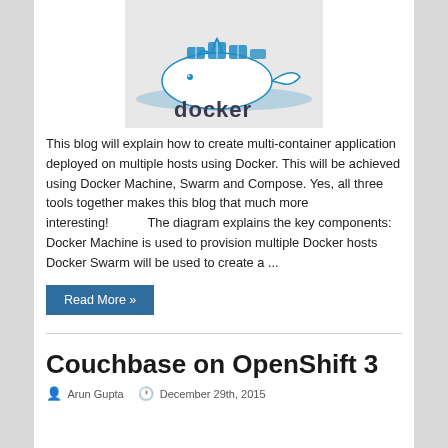[Figure (logo): Docker whale logo with shipping containers and 'docker' text in dark teal on a light gray background]
This blog will explain how to create multi-container application deployed on multiple hosts using Docker. This will be achieved using Docker Machine, Swarm and Compose. Yes, all three tools together makes this blog that much more interesting!           The diagram explains the key components: Docker Machine is used to provision multiple Docker hosts Docker Swarm will be used to create a ...
Read More »
Couchbase on OpenShift 3
Arun Gupta   December 29th, 2015